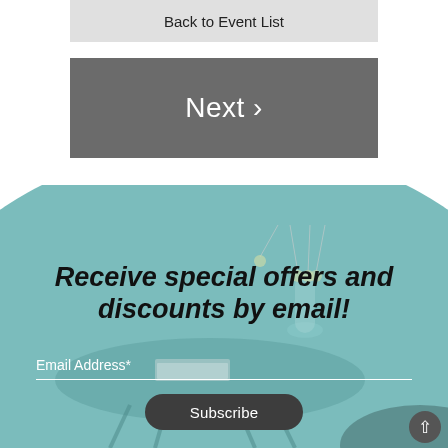Back to Event List
Next ›
[Figure (illustration): Teal/aqua elliptical background with a decorative photo of a round side table with books and a vase with pendulum balls, overlaid with email signup form elements]
Receive special offers and discounts by email!
Email Address*
Subscribe